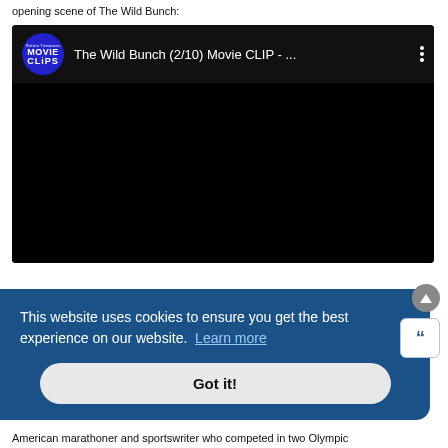opening scene of The Wild Bunch:
[Figure (screenshot): Embedded video thumbnail showing 'The Wild Bunch (2/10) Movie CLIP - ...' with Rotten Tomatoes Movie Clips logo (blue circle) on black background with video player header]
[Figure (other): Cookie consent banner with blue background reading 'This website uses cookies to ensure you get the best experience on our website. Learn more' and a 'Got it!' button]
American marathoner and sportswriter who competed in two Olympic